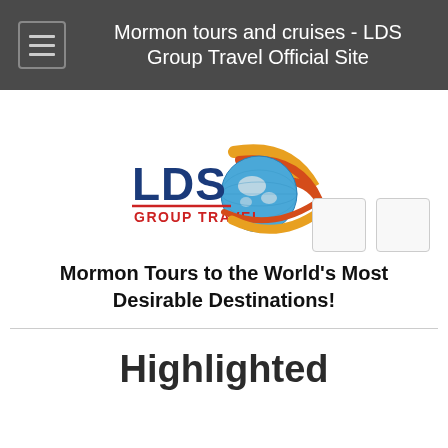Mormon tours and cruises - LDS Group Travel Official Site
[Figure (logo): LDS Group Travel logo with globe and swoosh design]
Mormon Tours to the World's Most Desirable Destinations!
Highlighted